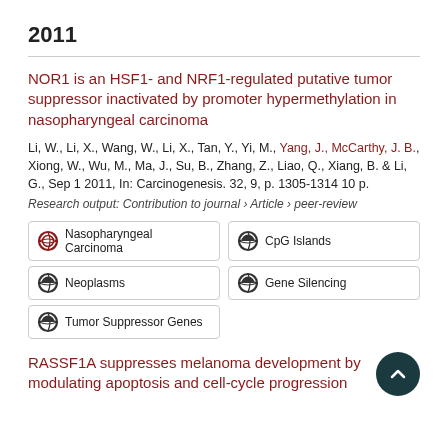2011
NOR1 is an HSF1- and NRF1-regulated putative tumor suppressor inactivated by promoter hypermethylation in nasopharyngeal carcinoma
Li, W., Li, X., Wang, W., Li, X., Tan, Y., Yi, M., Yang, J., McCarthy, J. B., Xiong, W., Wu, M., Ma, J., Su, B., Zhang, Z., Liao, Q., Xiang, B. & Li, G., Sep 1 2011, In: Carcinogenesis. 32, 9, p. 1305-1314 10 p.
Research output: Contribution to journal › Article › peer-review
Nasopharyngeal Carcinoma
CpG Islands
Neoplasms
Gene Silencing
Tumor Suppressor Genes
RASSF1A suppresses melanoma development by modulating apoptosis and cell-cycle progression